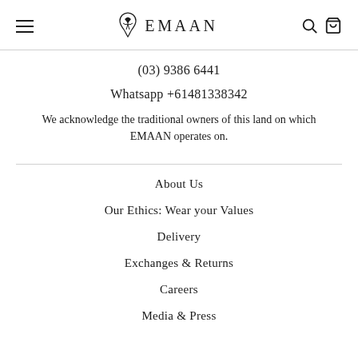EMAAN
(03) 9386 6441
Whatsapp +61481338342
We acknowledge the traditional owners of this land on which EMAAN operates on.
About Us
Our Ethics: Wear your Values
Delivery
Exchanges & Returns
Careers
Media & Press